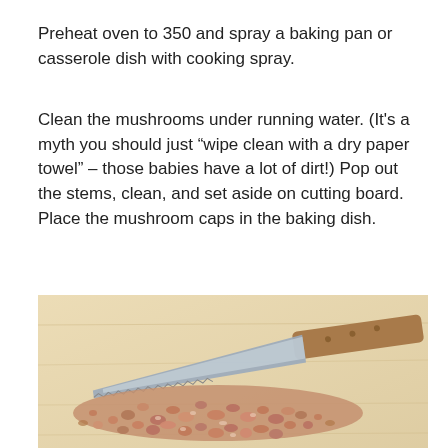Preheat oven to 350 and spray a baking pan or casserole dish with cooking spray.
Clean the mushrooms under running water. (It's a myth you should just “wipe clean with a dry paper towel” – those babies have a lot of dirt!) Pop out the stems, clean, and set aside on cutting board. Place the mushroom caps in the baking dish.
[Figure (photo): A photo of chopped mushroom stems piled on a wooden cutting board with a serrated knife resting across the top.]